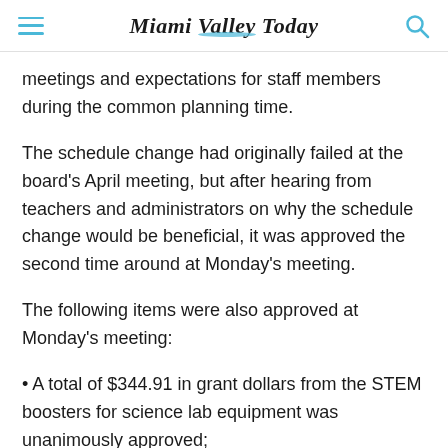Miami Valley Today
meetings and expectations for staff members during the common planning time.
The schedule change had originally failed at the board's April meeting, but after hearing from teachers and administrators on why the schedule change would be beneficial, it was approved the second time around at Monday's meeting.
The following items were also approved at Monday's meeting:
• A total of $344.91 in grant dollars from the STEM boosters for science lab equipment was unanimously approved;
• The service contract for Fiscal Year 2023 with the Miami